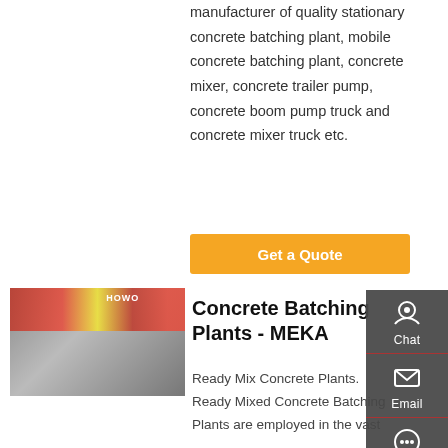manufacturer of quality stationary concrete batching plant, mobile concrete batching plant, concrete mixer, concrete trailer pump, concrete boom pump truck and concrete mixer truck etc.
Get a Quote
[Figure (photo): Rear view of a HOWO truck in front of a commercial building with red and yellow signage]
Concrete Batching Plants - MEKA
Ready Mix Concrete Plants. Ready Mixed Concrete Batching Plants are employed in the vast